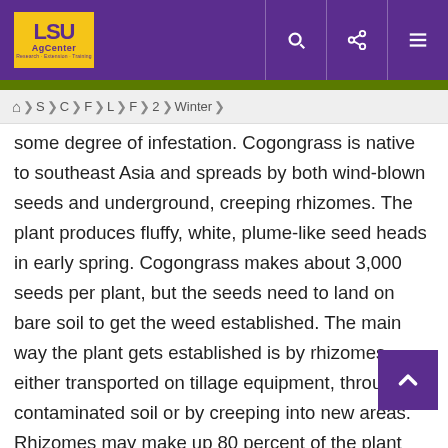LSU AgCenter — Header with search, share, and menu icons
🏠 > S > C > F > L > F > 2 > Winter >
some degree of infestation. Cogongrass is native to southeast Asia and spreads by both wind-blown seeds and underground, creeping rhizomes. The plant produces fluffy, white, plume-like seed heads in early spring. Cogongrass makes about 3,000 seeds per plant, but the seeds need to land on bare soil to get the weed established. The main way the plant gets established is by rhizomes either transported on tillage equipment, through contaminated soil or by creeping into new areas. Rhizomes may make up 80 percent of the plant mass, which allows the plant to recover from most mowing and herbicide applications. Once the cogongrass is established, the area becomes a monoculture of cogongrass with nothing else able to grow.